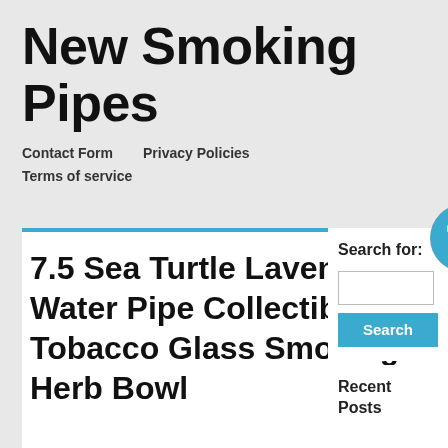New Smoking Pipes
Contact Form   Privacy Policies   Terms of service
6 APR 2021
7.5 Sea Turtle Lavender Water Pipe Collectible Tobacco Glass Smoking Herb Bowl
Search for:
Search
Recent Posts